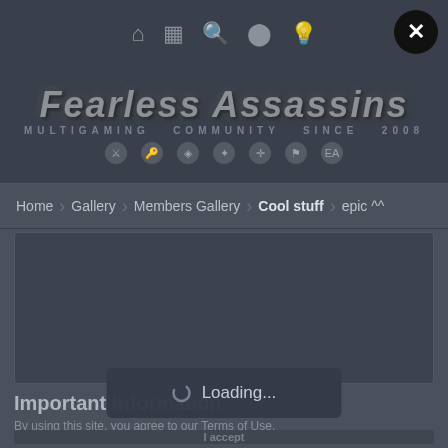Fearless Assassins - Multigaming Community Since 2008
Home > Gallery > Members Gallery > Cool stuff > epic ^^
[Figure (screenshot): Dark gray content area placeholder]
Important Information
By using this site, you agree to our Terms of Use.
Loading...